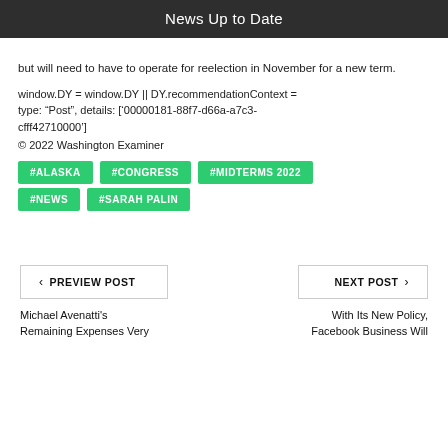News Up to Date
but will need to have to operate for reelection in November for a new term.
window.DY = window.DY || DY.recommendationContext = type: “Post”, details: [’00000181-88f7-d66a-a7c3-cfff42710000’]
© 2022 Washington Examiner
#ALASKA
#CONGRESS
#MIDTERMS 2022
#NEWS
#SARAH PALIN
< PREVIEW POST
NEXT POST >
Michael Avenatti's Remaining Expenses Very
With Its New Policy, Facebook Business Will